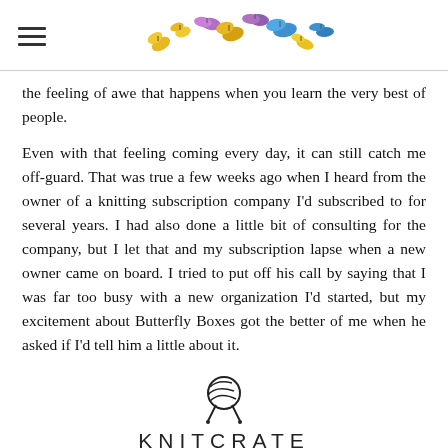≡ [butterflies logo]
the feeling of awe that happens when you learn the very best of people.
Even with that feeling coming every day, it can still catch me off-guard. That was true a few weeks ago when I heard from the owner of a knitting subscription company I'd subscribed to for several years. I had also done a little bit of consulting for the company, but I let that and my subscription lapse when a new owner came on board. I tried to put off his call by saying that I was far too busy with a new organization I'd started, but my excitement about Butterfly Boxes got the better of me when he asked if I'd tell him a little about it.
[Figure (logo): KnitCrate yarn ball with needles logo icon above the text KNITCRATE]